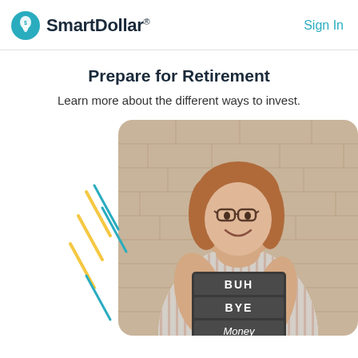SmartDollar® | Sign In
Prepare for Retirement
Learn more about the different ways to invest.
[Figure (photo): A smiling woman with glasses and shoulder-length auburn hair, wearing a striped shirt, holding a dark letter board sign that reads 'BUH BYE Money' in front of a brick wall. Decorative diagonal lines (teal, yellow) appear on the left side of the image.]